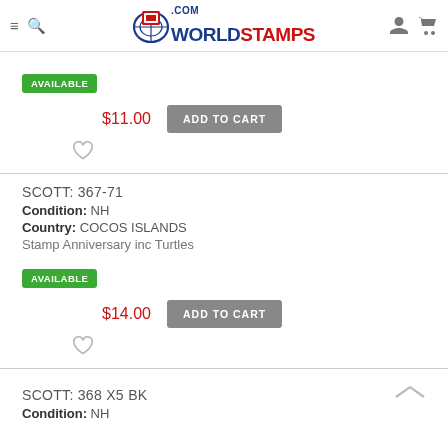WorldStamps.com
AVAILABLE
$11.00  ADD TO CART
SCOTT: 367-71
Condition: NH
Country: COCOS ISLANDS
Stamp Anniversary inc Turtles
AVAILABLE
$14.00  ADD TO CART
SCOTT: 368 X5 BK
Condition: NH